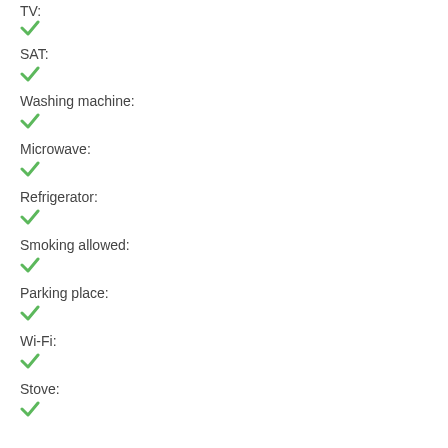TV:
✓
SAT:
✓
Washing machine:
✓
Microwave:
✓
Refrigerator:
✓
Smoking allowed:
✓
Parking place:
✓
Wi-Fi:
✓
Stove:
✓